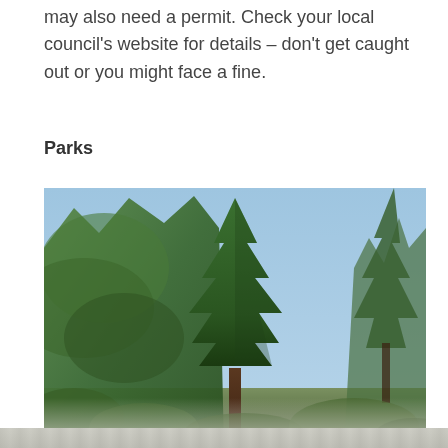may also need a permit. Check your local council’s website for details – don’t get caught out or you might face a fine.
Parks
[Figure (photo): Photograph looking up at tall trees in a park, featuring a large central conifer/pine tree against a blue sky, with leafy trees on the left and evergreen trees on the right. The bottom of the image is partially faded/washed out.]